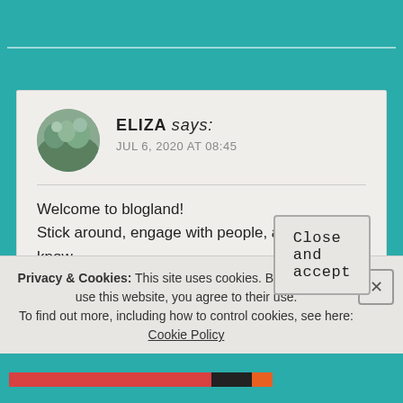[Figure (screenshot): Blog comment card on teal background. Shows avatar photo of person, commenter name ELIZA with 'says:' in italic, date JUL 6, 2020 AT 08:45, and comment text: Welcome to blogland! Stick around, engage with people, and get to know some people you like 💕 Love, light and glitter. Liked by 1 person partially visible at bottom.]
ELIZA says:
JUL 6, 2020 AT 08:45

Welcome to blogland!
Stick around, engage with people, and get to know some people you like 💕
Love, light and glitter

★ Liked by 1 person
Privacy & Cookies: This site uses cookies. By continuing to use this website, you agree to their use.
To find out more, including how to control cookies, see here: Cookie Policy
Close and accept